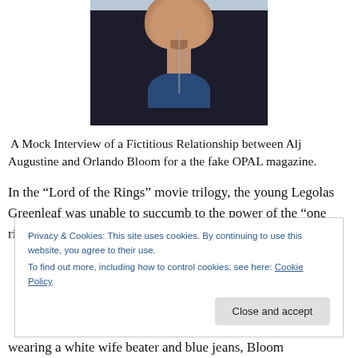[Figure (photo): Photo of a young man with short dark hair and a goatee, wearing a dark navy/black sweatshirt over a blue t-shirt, with a long chain necklace, photographed against a light background.]
A Mock Interview of a Fictitious Relationship between Alj Augustine and Orlando Bloom for a the fake OPAL magazine.
In the “Lord of the Rings” movie trilogy, the young Legolas Greenleaf was unable to succumb to the power of the “one ring,” but no one would suspect that actor Orlando Bloom
Privacy & Cookies: This site uses cookies. By continuing to use this website, you agree to their use.
To find out more, including how to control cookies, see here: Cookie Policy
wearing a white wife beater and blue jeans, Bloom